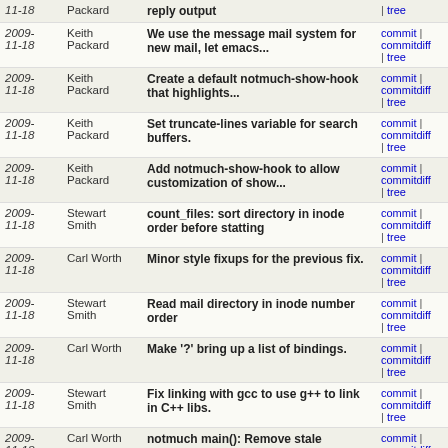| Date | Author | Message | Links |
| --- | --- | --- | --- |
| 2009-11-18 | Keith Packard | reply output | commit | commitdiff | tree |
| 2009-11-18 | Keith Packard | We use the message mail system for new mail, let emacs... | commit | commitdiff | tree |
| 2009-11-18 | Keith Packard | Create a default notmuch-show-hook that highlights... | commit | commitdiff | tree |
| 2009-11-18 | Keith Packard | Set truncate-lines variable for search buffers. | commit | commitdiff | tree |
| 2009-11-18 | Keith Packard | Add notmuch-show-hook to allow customization of show... | commit | commitdiff | tree |
| 2009-11-18 | Stewart Smith | count_files: sort directory in inode order before statting | commit | commitdiff | tree |
| 2009-11-18 | Carl Worth | Minor style fixups for the previous fix. | commit | commitdiff | tree |
| 2009-11-18 | Stewart Smith | Read mail directory in inode number order | commit | commitdiff | tree |
| 2009-11-18 | Carl Worth | Make '?' bring up a list of bindings. | commit | commitdiff | tree |
| 2009-11-18 | Stewart Smith | Fix linking with gcc to use g++ to link in C++ libs. | commit | commitdiff | tree |
| 2009-11-18 | Carl Worth | notmuch main(): Remove stale comment. | commit | commitdiff | tree |
| 2009-11-18 | Lars Kellogg-Stedman | notmuch help: Print to stdout, not to stderr. | commit | commitdiff | tree |